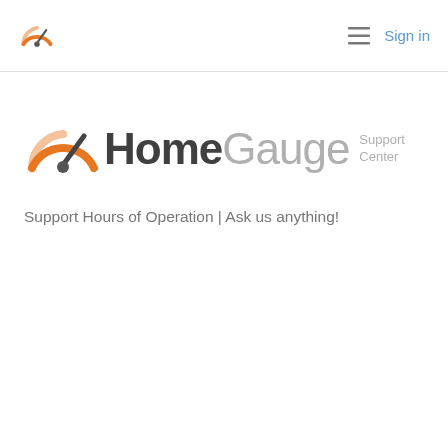HomeGauge Sign in
[Figure (logo): HomeGauge Support Center logo with orange speedometer icon, 'Home' in dark gray bold, 'Gauge' in light gray, and 'Support Center' in light gray text]
Support Hours of Operation | Ask us anything!